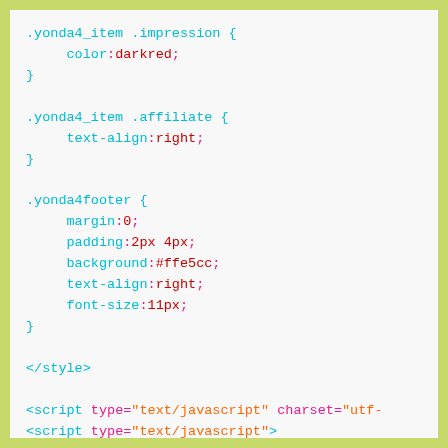.yonda4_item .impression { color:darkred; } .yonda4_item .affiliate { text-align:right; } .yonda4footer { margin:0; padding:2px 4px; background:#ffe5cc; text-align:right; font-size:11px; } </style> <script type="text/javascript" charset="utf- <script type="text/javascript"> (function(){ var      w=window,d=w.document; w.yonda4 show text=function(obj){